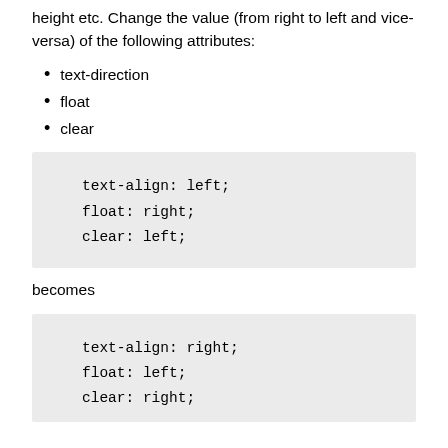height etc. Change the value (from right to left and vice-versa) of the following attributes:
text-direction
float
clear
text-align: left;
float: right;
clear: left;
becomes
text-align: right;
float: left;
clear: right;